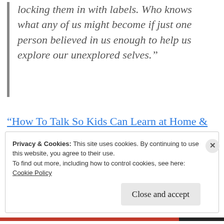locking them in with labels. Who knows what any of us might become if just one person believed in us enough to help us explore our unexplored selves.”
“How To Talk So Kids Can Learn at Home & in School” ~ Adele Faber & Elaine Mazlish with Lisa Nyberg & Rosalyn Anstine Templeton
Privacy & Cookies: This site uses cookies. By continuing to use this website, you agree to their use.
To find out more, including how to control cookies, see here:
Cookie Policy
Close and accept